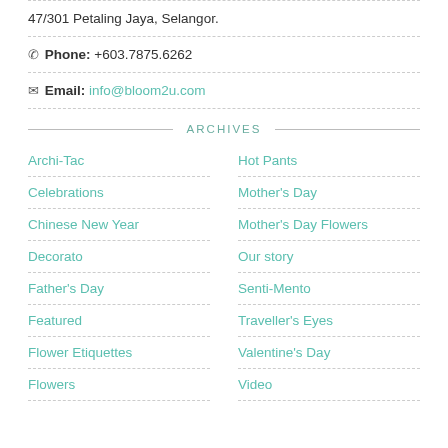47/301 Petaling Jaya, Selangor.
Phone: +603.7875.6262
Email: info@bloom2u.com
ARCHIVES
Archi-Tac
Hot Pants
Celebrations
Mother's Day
Chinese New Year
Mother's Day Flowers
Decorato
Our story
Father's Day
Senti-Mento
Featured
Traveller's Eyes
Flower Etiquettes
Valentine's Day
Flowers
Video